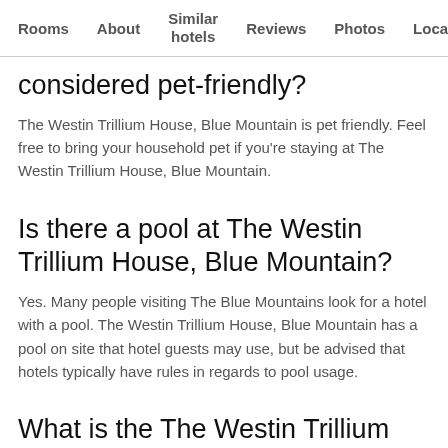Rooms   About   Similar hotels   Reviews   Photos   Loca…
considered pet-friendly?
The Westin Trillium House, Blue Mountain is pet friendly. Feel free to bring your household pet if you're staying at The Westin Trillium House, Blue Mountain.
Is there a pool at The Westin Trillium House, Blue Mountain?
Yes. Many people visiting The Blue Mountains look for a hotel with a pool. The Westin Trillium House, Blue Mountain has a pool on site that hotel guests may use, but be advised that hotels typically have rules in regards to pool usage.
What is the The Westin Trillium House, Blue Mountain phone number?